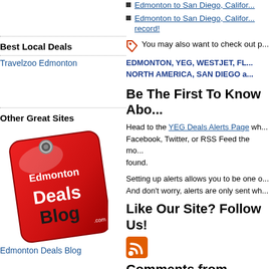Edmonton to San Diego, Califor...
Edmonton to San Diego, Califor... record!
You may also want to check out p...
EDMONTON, YEG, WESTJET, FL... NORTH AMERICA, SAN DIEGO a...
Best Local Deals
Travelzoo Edmonton
Other Great Sites
[Figure (logo): Edmonton Deals Blog red tag logo]
Edmonton Deals Blog
Be The First To Know Abo...
Head to the YEG Deals Alerts Page wh... Facebook, Twitter, or RSS Feed the mo... found.
Setting up alerts allows you to be one o... And don't worry, alerts are only sent wh...
Like Our Site? Follow Us!
[Figure (logo): RSS feed orange icon]
Comments from Facebo...
Comments from Everyon...